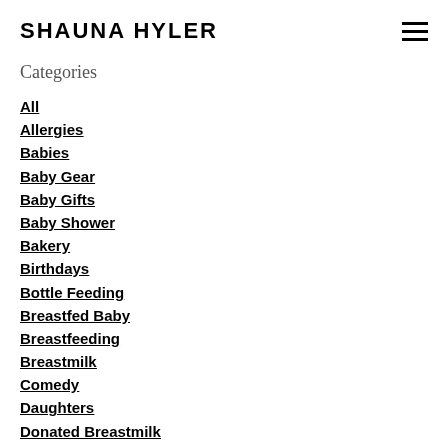SHAUNA HYLER
Categories
All
Allergies
Babies
Baby Gear
Baby Gifts
Baby Shower
Bakery
Birthdays
Bottle Feeding
Breastfed Baby
Breastfeeding
Breastmilk
Comedy
Daughters
Donated Breastmilk